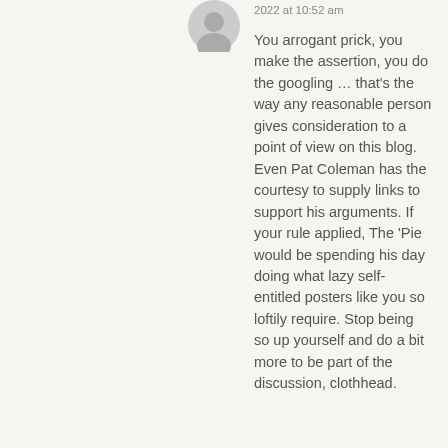[Figure (illustration): Gray circular avatar/profile icon]
2022 at 10:52 am
You arrogant prick, you make the assertion, you do the googling … that's the way any reasonable person gives consideration to a point of view on this blog. Even Pat Coleman has the courtesy to supply links to support his arguments. If your rule applied, The 'Pie would be spending his day doing what lazy self-entitled posters like you so loftily require. Stop being so up yourself and do a bit more to be part of the discussion, clothhead.